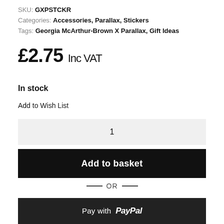SKU: GXPSTCKR
Categories: Accessories, Parallax, Stickers
Tags: Georgia McArthur-Brown X Parallax, Gift Ideas
£2.75 Inc VAT
In stock
Add to Wish List
1
Add to basket
— OR —
Pay with PayPal